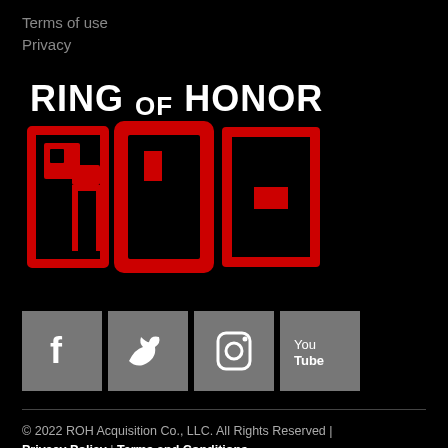Terms of use
Privacy
[Figure (logo): Ring of Honor ROH logo — white bold text 'RING OF HONOR' above large red block letters 'ROH' with black background]
[Figure (infographic): Four social media icons in grey squares: Facebook, Twitter, Instagram, YouTube]
© 2022 ROH Acquisition Co., LLC. All Rights Reserved | Privacy Policy | Terms and Conditions
Powered by Drupal